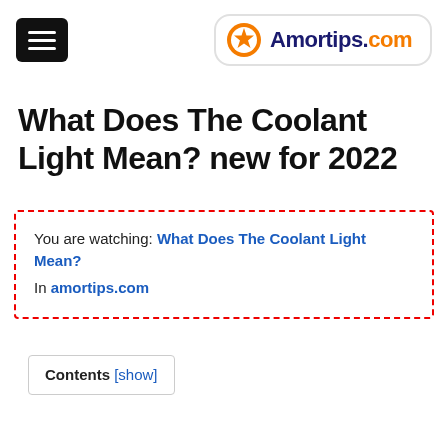Amortips.com
What Does The Coolant Light Mean? new for 2022
You are watching: What Does The Coolant Light Mean? In amortips.com
Contents [show]